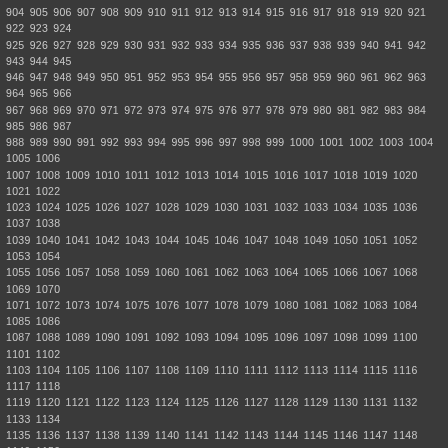904 905 906 907 908 909 910 911 912 913 914 915 916 917 918 919 920 921 922 923 924 925 926 927 928 929 930 931 932 933 934 935 936 937 938 939 940 941 942 943 944 945 946 947 948 949 950 951 952 953 954 955 956 957 958 959 960 961 962 963 964 965 966 967 968 969 970 971 972 973 974 975 976 977 978 979 980 981 982 983 984 985 986 987 988 989 990 991 992 993 994 995 996 997 998 999 1000 1001 1002 1003 1004 1005 1006 1007 1008 1009 1010 1011 1012 1013 1014 1015 1016 1017 1018 1019 1020 1021 1022 1023 1024 1025 1026 1027 1028 1029 1030 1031 1032 1033 1034 1035 1036 1037 1038 1039 1040 1041 1042 1043 1044 1045 1046 1047 1048 1049 1050 1051 1052 1053 1054 1055 1056 1057 1058 1059 1060 1061 1062 1063 1064 1065 1066 1067 1068 1069 1070 1071 1072 1073 1074 1075 1076 1077 1078 1079 1080 1081 1082 1083 1084 1085 1086 1087 1088 1089 1090 1091 1092 1093 1094 1095 1096 1097 1098 1099 1100 1101 1102 1103 1104 1105 1106 1107 1108 1109 1110 1111 1112 1113 1114 1115 1116 1117 1118 1119 1120 1121 1122 1123 1124 1125 1126 1127 1128 1129 1130 1131 1132 1133 1134 1135 1136 1137 1138 1139 1140 1141 1142 1143 1144 1145 1146 1147 1148 1149 1150 1151 1152 1153 1154 1155 1156 1157 1158 1159 1160 1161 1162 1163 1164 1165 1166 1167 1168 1169 1170 1171 1172 1173 1174 1175 1176 1177 1178 1179 1180 1181 1182 1183 1184 1185 1186 1187 1188 1189 1190 1191 1192 1193 1194 1195 1196 1197 1198 1199 1200 1201 1202 1203 1204 1205 1206 1207 1208 1209 1210 1211 1212 1213 1214 1215
Bookkeeper near me
May 6, 2020
https://tax-preparationservices.com/bookkeepers-near-me/
alex.bellprep997@gmail.com
Bookkeeping services ass... maintaining daily account... record financial transactio... and small funds. The resp... somewhat different from a... related to finances and re... bookkeeping as a service... bookkeeping services for...
Accountant near me
May 6, 2020
https://tax-preparationservices.com/accountants-near-me/
alex.bellprep997@gmail.com
When choosing a reliable... paramount to find an indi... experience combined with... acumen. This article is a ... accountant near me. Mov... that will help business ow... choosing an international...